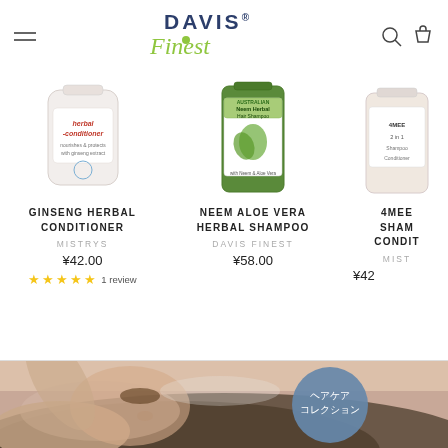[Figure (logo): Davis Finest logo with hamburger menu and search/cart icons]
[Figure (photo): Ginseng Herbal Conditioner product bottle - white/cream colored container]
GINSENG HERBAL CONDITIONER
MISTRYS
¥42.00
★★★★★ 1 review
[Figure (photo): Neem Aloe Vera Herbal Shampoo product bottle - green bottle]
NEEM ALOE VERA HERBAL SHAMPOO
DAVIS FINEST
¥58.00
4MEE SHAM CONDIT
MIST
¥42
[Figure (photo): Bottom banner showing a person washing hair with a teal circular button overlay showing text]